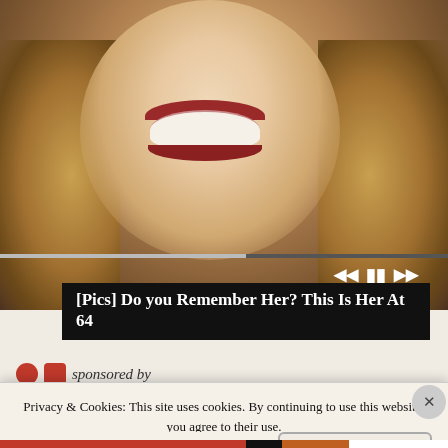[Figure (photo): Close-up photo of a smiling woman with curly blonde hair and red lipstick, with media player controls overlaid at the bottom]
[Pics] Do you Remember Her? This Is Her At 64
sponsored by
Privacy & Cookies: This site uses cookies. By continuing to use this website, you agree to their use.
To find out more, including how to control cookies, see here:
Cookie Policy
Close and accept